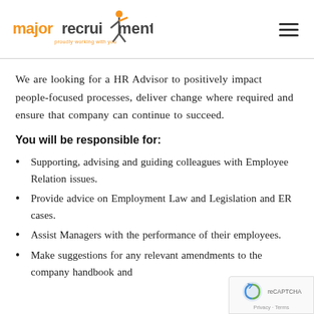[Figure (logo): Major Recruitment logo with orange figure and text 'majorrecruitment proudly working with you']
We are looking for a HR Advisor to positively impact people-focused processes, deliver change where required and ensure that company can continue to succeed.
You will be responsible for:
Supporting, advising and guiding colleagues with Employee Relation issues.
Provide advice on Employment Law and Legislation and ER cases.
Assist Managers with the performance of their employees.
Make suggestions for any relevant amendments to the company handbook and